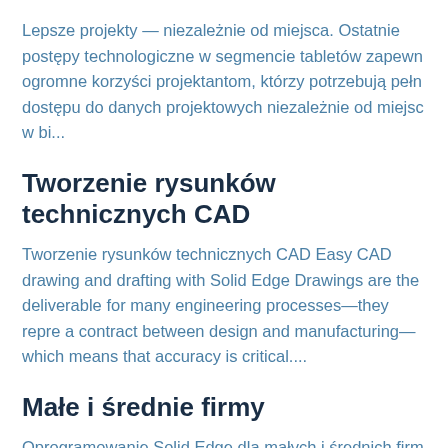Lepsze projekty — niezależnie od miejsca. Ostatnie postępy technologiczne w segmencie tabletów zapewn ogromne korzyści projektantom, którzy potrzebują pełn dostępu do danych projektowych niezależnie od miejsc w bi...
Tworzenie rysunków technicznych CAD
Tworzenie rysunków technicznych CAD Easy CAD drawing and drafting with Solid Edge Drawings are the deliverable for many engineering processes—they repre a contract between design and manufacturing—which means that accuracy is critical....
Małe i średnie firmy
Oprogramowanie Solid Edge dla małych i średnich firm